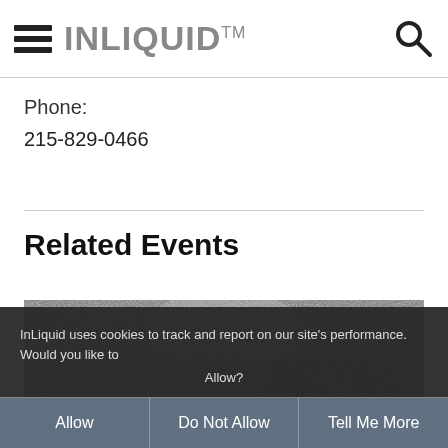INLIQUID™
Phone:
215-829-0466
Related Events
[Figure (photo): Black and white textured photo used as event thumbnail]
InLiquid uses cookies to track and report on our site's performance. Would you like to Allow?
Allow | Do Not Allow | Tell Me More